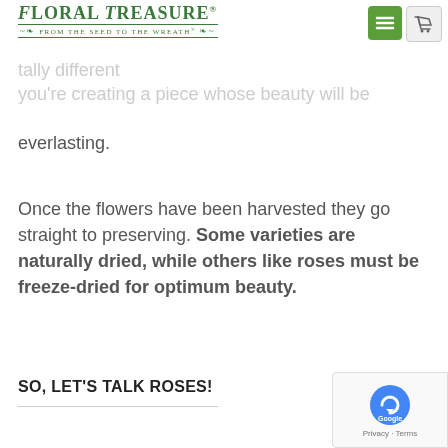Floral Treasure® From the Seed to the Wreath®
tally different … you're creating a piece whose beauty will be everlasting.
Once the flowers have been harvested they go straight to preserving. Some varieties are naturally dried, while others like roses must be freeze-dried for optimum beauty.
SO, LET'S TALK ROSES!